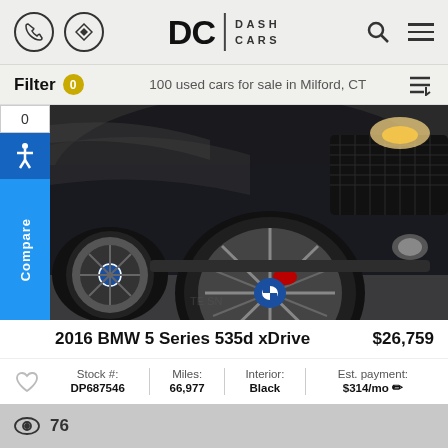DC DASH CARS
Filter 0  100 used cars for sale in Milford, CT
[Figure (photo): Front close-up of a dark grey/black BMW 5 Series showing the front bumper, M-sport alloy wheel, and BMW roundel badge in an indoor garage setting]
Compare 0
2016 BMW 5 Series 535d xDrive  $26,759
| Stock #: | Miles: | Interior: | Est. payment: |
| --- | --- | --- | --- |
| DP687546 | 66,977 | Black | $314/mo |
76 views